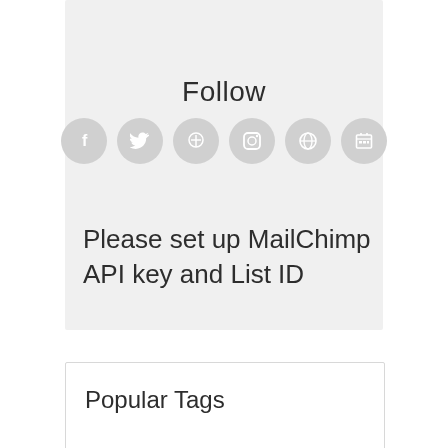Follow
[Figure (illustration): Six grey circular social media icon buttons in a row: Facebook (f), Twitter (bird), Pinterest, Instagram, a globe/dribbble icon, and a calendar/grid icon]
Please set up MailChimp API key and List ID
Popular Tags